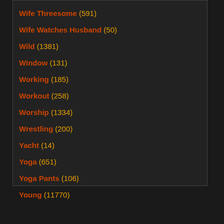Wife Threesome (591)
Wife Watches Husband (50)
Wild (1381)
Window (131)
Working (185)
Workout (258)
Worship (1334)
Wrestling (200)
Yacht (14)
Yoga (651)
Yoga Pants (106)
Young (11770)